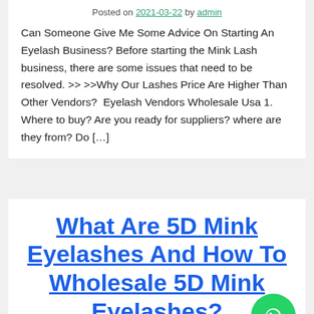Posted on 2021-03-22 by admin
Can Someone Give Me Some Advice On Starting An Eyelash Business? Before starting the Mink Lash business, there are some issues that need to be resolved. >> >>Why Our Lashes Price Are Higher Than Other Vendors?  Eyelash Vendors Wholesale Usa 1. Where to buy? Are you ready for suppliers? where are they from? Do […]
What Are 5D Mink Eyelashes And How To Wholesale 5D Mink Eyelashes?